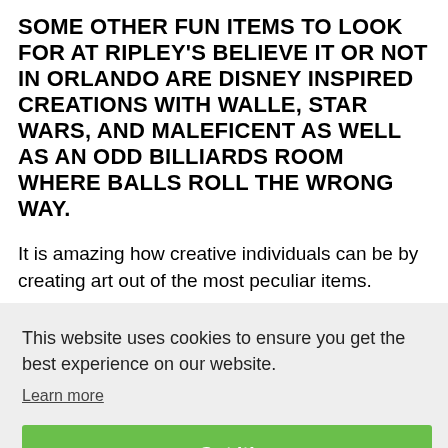SOME OTHER FUN ITEMS TO LOOK FOR AT RIPLEY'S BELIEVE IT OR NOT IN ORLANDO ARE DISNEY INSPIRED CREATIONS WITH WALLE, STAR WARS, AND MALEFICENT AS WELL AS AN ODD BILLIARDS ROOM WHERE BALLS ROLL THE WRONG WAY.
It is amazing how creative individuals can be by creating art out of the most peculiar items.
This website uses cookies to ensure you get the best experience on our website. Learn more
Got it!
[Figure (photo): Partial photo of a person in traditional dress with neck rings, visible on the right side of the cookie banner]
[Figure (photo): Partial photo of people visible at the bottom of the page]